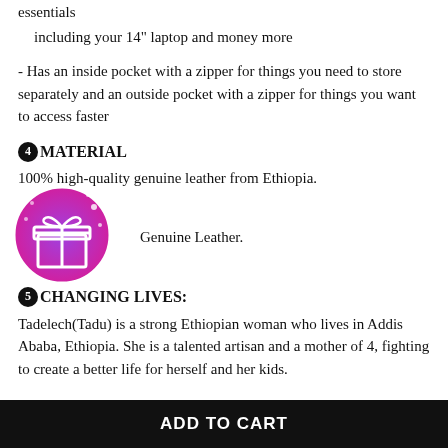essentials
including your 14" laptop and money more
- Has an inside pocket with a zipper for things you need to store separately and an outside pocket with a zipper for things you want to access faster
❹MATERIAL
100% high-quality genuine leather from Ethiopia.
[Figure (illustration): Circular gift/present icon with purple-to-pink gradient background and white gift box with ribbon graphic, surrounded by small star/sparkle dots]
Genuine Leather.
❺CHANGING LIVES:
Tadelech(Tadu) is a strong Ethiopian woman who lives in Addis Ababa, Ethiopia. She is a talented artisan and a mother of 4, fighting to create a better life for herself and her kids.
ADD TO CART